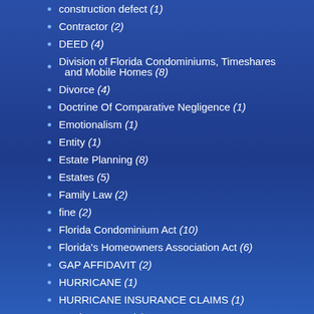construction defect (1)
Contractor (2)
DEED (4)
Division of Florida Condominiums, Timeshares and Mobile Homes (8)
Divorce (4)
Doctrine Of Comparative Negligence (1)
Emotionalism (1)
Entity (1)
Estate Planning (8)
Estates (5)
Family Law (2)
fine (2)
Florida Condominium Act (10)
Florida's Homeowners Association Act (6)
GAP AFFIDAVIT (2)
HURRICANE (1)
HURRICANE INSURANCE CLAIMS (1)
Hurricane Irma (1)
INSURANCE (9)
insurance claim (2)
INSURANCE CLAIMS (2)
Liability (20)
else mows the
Continue read
SOME CO
Posted on Se
Some people
Both can be ri
Continue read
CAN I FLY
Posted on Se
Over the year
display of flag
Continue read